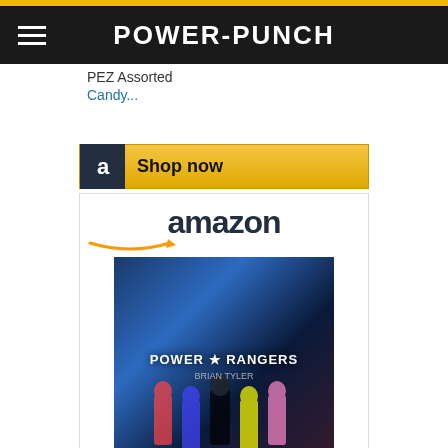POWER-PUNCH
PEZ Assorted Candy...
[Figure (screenshot): Amazon Shop now button with yellow gradient background and dark Amazon icon]
[Figure (screenshot): Amazon product card showing Power Rangers - Original... movie poster priced at $22.70 with Prime badge]
[Figure (screenshot): Amazon Shop now button with yellow gradient background]
[Figure (screenshot): Partial Amazon product card showing amazon logo and pink ranger figure at bottom of page]